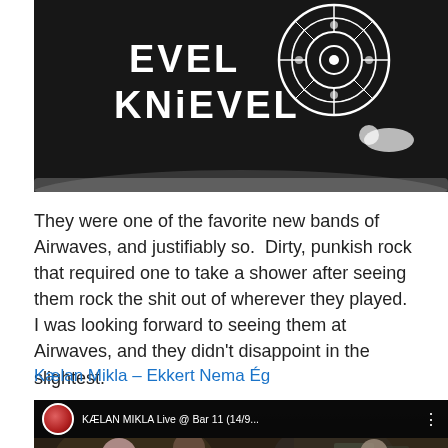[Figure (photo): Black and white stylized image with text 'EVEL KNIEVEL' and a decorative circular wheel/snail graphic on dark background]
They were one of the favorite new bands of Airwaves, and justifiably so.  Dirty, punkish rock that required one to take a shower after seeing them rock the shit out of wherever they played.  I was looking forward to seeing them at Airwaves, and they didn't disappoint in the slightest.
Kælan Mikla – Ekkert Nema Ég
[Figure (screenshot): YouTube video thumbnail showing 'KÆLAN MIKLA Live @ Bar 11 (14/9...' with a live band performance scene and YouTube play button overlay]